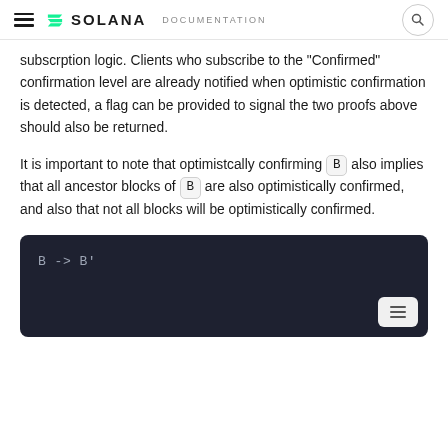≡ S SOLANA DOCUMENTATION 🔍
subscrption logic. Clients who subscribe to the "Confirmed" confirmation level are already notified when optimistic confirmation is detected, a flag can be provided to signal the two proofs above should also be returned.
It is important to note that optimistcally confirming B also implies that all ancestor blocks of B are also optimistically confirmed, and also that not all blocks will be optimistically confirmed.